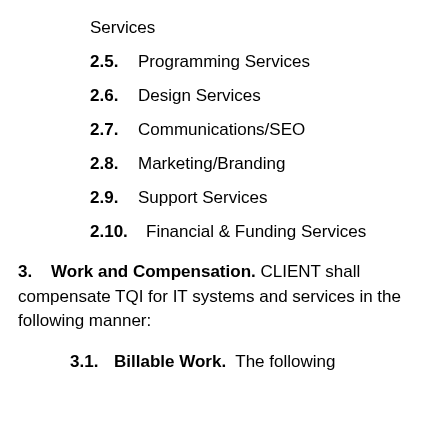Services
2.5.  Programming Services
2.6.  Design Services
2.7.  Communications/SEO
2.8.  Marketing/Branding
2.9.  Support Services
2.10.  Financial & Funding Services
3.  Work and Compensation. CLIENT shall compensate TQI for IT systems and services in the following manner:
3.1.  Billable Work.  The following activities are considered as examples of